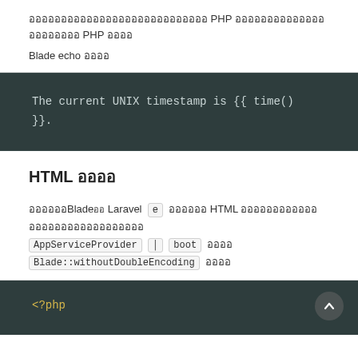ออกแบบมาเพื่อให้ PHP สามารถเรียกใช้ PHP ได้
Blade echo สิ่งนี้
HTML สิ่งนี้
หากคุณBlade Laravel e สิ่งที่ HTML ออกแบบมาเพื่อให้เรียกใช้ AppServiceProvider │ boot สิ่งนี้ Blade::withoutDoubleEncoding นี้